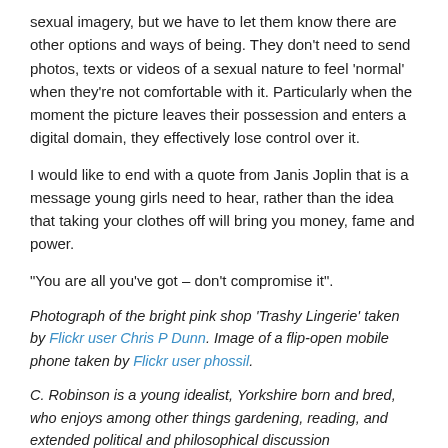sexual imagery, but we have to let them know there are other options and ways of being. They don't need to send photos, texts or videos of a sexual nature to feel 'normal' when they're not comfortable with it. Particularly when the moment the picture leaves their possession and enters a digital domain, they effectively lose control over it.
I would like to end with a quote from Janis Joplin that is a message young girls need to hear, rather than the idea that taking your clothes off will bring you money, fame and power.
“You are all you’ve got – don’t compromise it”.
Photograph of the bright pink shop ‘Trashy Lingerie’ taken by Flickr user Chris P Dunn. Image of a flip-open mobile phone taken by Flickr user phossil.
C. Robinson is a young idealist, Yorkshire born and bred, who enjoys among other things gardening, reading, and extended political and philosophical discussion